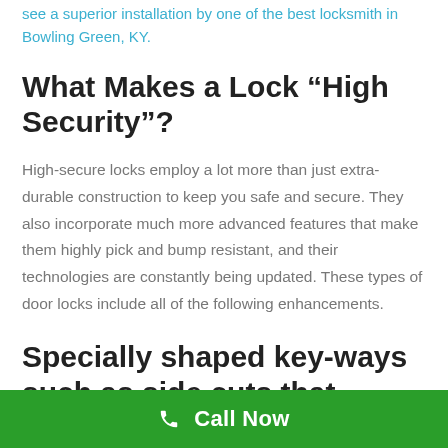see a superior installation by one of the best locksmith in Bowling Green, KY.
What Makes a Lock “High Security”?
High-secure locks employ a lot more than just extra-durable construction to keep you safe and secure. They also incorporate much more advanced features that make them highly pick and bump resistant, and their technologies are constantly being updated. These types of door locks include all of the following enhancements.
Specially shaped key-ways such as side cuts that makes
Call Now